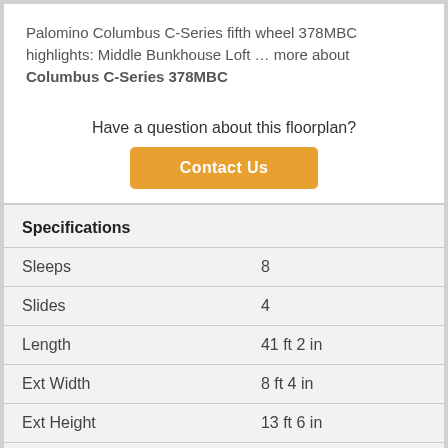Palomino Columbus C-Series fifth wheel 378MBC highlights: Middle Bunkhouse Loft … more about Columbus C-Series 378MBC
Have a question about this floorplan?
Contact Us
Specifications
| Specification | Value |
| --- | --- |
| Sleeps | 8 |
| Slides | 4 |
| Length | 41 ft 2 in |
| Ext Width | 8 ft 4 in |
| Ext Height | 13 ft 6 in |
| Hitch Weight | 2184 lbs |
| Gross Weight | 15997 lbs |